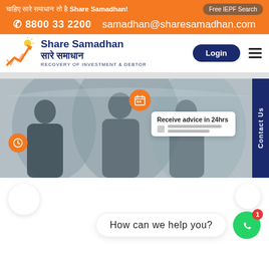चाहिए सारे समाधान तो है Share Samadhan! | Free IEPF Search | ☎ 8800 33 2200 | samadhan@sharesamadhan.com
[Figure (logo): Share Samadhan logo with rising arrow/graph icon and text 'Share Samadhan सारे समाधान RECOVERY OF INVESTMENT & DEBTOR']
[Figure (screenshot): Hero banner showing three professionals in conversation with calendar icon, clock icon, advice card saying 'Receive advice in 24hrs', and a vertical dark blue 'Contact Us' tab on the right]
How can we help you?
[Figure (logo): WhatsApp chat button (green circle with WhatsApp icon) with badge showing notification count '1']